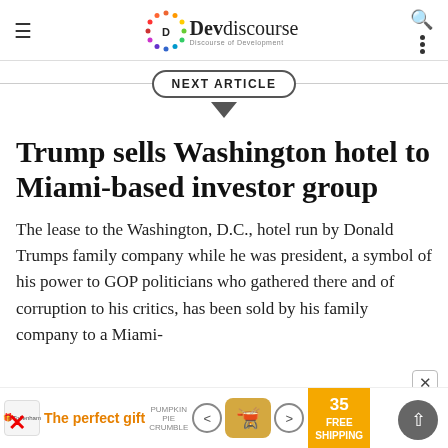Devdiscourse — Discourse of Development
NEXT ARTICLE
Trump sells Washington hotel to Miami-based investor group
The lease to the Washington, D.C., hotel run by Donald Trumps family company while he was president, a symbol of his power to GOP politicians who gathered there and of corruption to his critics, has been sold by his family company to a Miami-